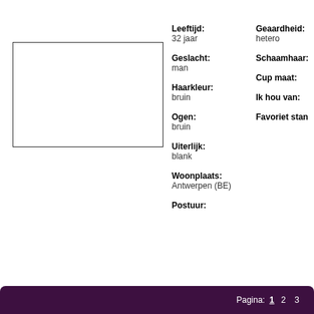[Figure (photo): Empty white photo placeholder box with a black border]
Leeftijd:
32 jaar
Geaardheid:
hetero
Geslacht:
man
Schaamhaar:
Haarkleur:
bruin
Cup maat:
Ogen:
bruin
Ik hou van:
Uiterlijk:
blank
Woonplaats:
Antwerpen (BE)
Favoriet stan
Postuur:
Pagina:  1  2  3